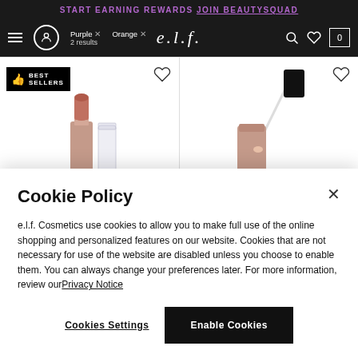START EARNING REWARDS JOIN BEAUTYSQUAD
[Figure (screenshot): e.l.f. cosmetics website navigation bar with hamburger menu, user icon, filter tags 'Purple x' and 'Orange x', 2 results, e.l.f. logo, search icon, wishlist icon, and cart icon]
[Figure (photo): Two product images side by side: left shows a Best Sellers lipstick with cap off, right shows a lip gloss with applicator]
Cookie Policy
e.l.f. Cosmetics use cookies to allow you to make full use of the online shopping and personalized features on our website. Cookies that are not necessary for use of the website are disabled unless you choose to enable them. You can always change your preferences later. For more information, review our Privacy Notice
Cookies Settings   Enable Cookies